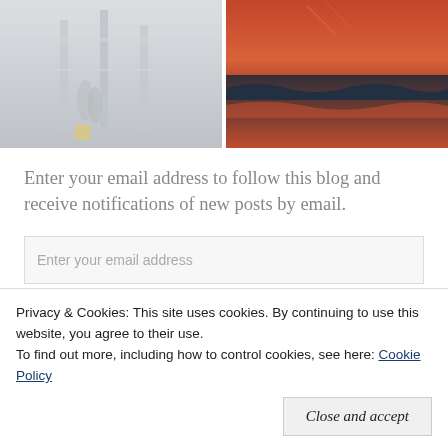[Figure (photo): Foggy pier scene with railings and hazy figures, muted gray tones]
[Figure (photo): Sunset beach scene with orange-red sky reflecting on ocean waves]
Enter your email address to follow this blog and receive notifications of new posts by email.
Enter your email address
Privacy & Cookies: This site uses cookies. By continuing to use this website, you agree to their use.
To find out more, including how to control cookies, see here: Cookie Policy
Close and accept